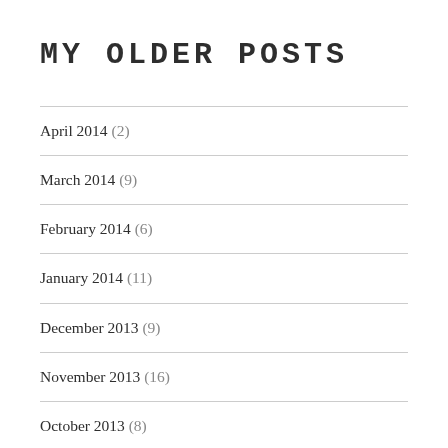MY OLDER POSTS
April 2014 (2)
March 2014 (9)
February 2014 (6)
January 2014 (11)
December 2013 (9)
November 2013 (16)
October 2013 (8)
September 2013 (6)